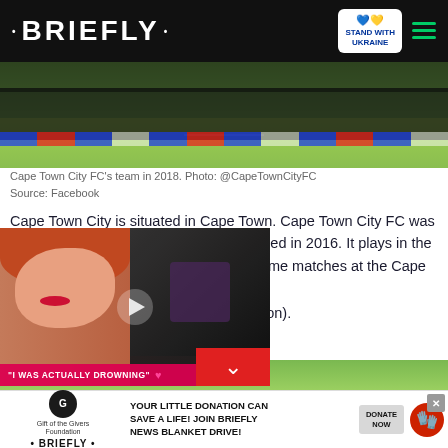• BRIEFLY •
[Figure (photo): Cape Town City FC team photo on football pitch in 2018, players standing in a row]
Cape Town City FC's team in 2018. Photo: @CapeTownCityFC
Source: Facebook
Cape Town City is situated in Cape Town. Cape Town City FC was formed in 1960, although it was re-branded in 2016. It plays in the Premier Soccer League and hosts its home matches at the Cape Town Stadium. The net worth of Cape Town City FC is R170 million ($10.96 million).
[Figure (screenshot): Video overlay thumbnail showing a woman with red hair on left and a music performance on right, with play button and label 'I WAS ACTUALLY DROWNING']
[Figure (infographic): Ad banner: Gift of the Givers Foundation + Briefly logo. Text: YOUR LITTLE DONATION CAN SAVE A LIFE! JOIN BRIEFLY NEWS BLANKET DRIVE! DONATE NOW]